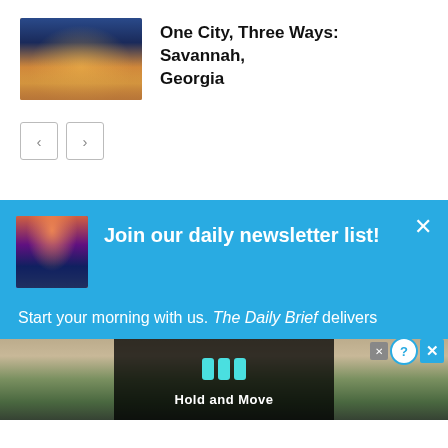[Figure (photo): Thumbnail photo of Savannah Georgia city street with lights at night]
One City, Three Ways: Savannah, Georgia
[Figure (other): Navigation previous and next buttons]
[Figure (screenshot): Newsletter popup overlay with city skyline thumbnail, headline Join our daily newsletter list!, and text Start your morning with us. The Daily Brief delivers]
Join our daily newsletter list!
Start your morning with us. The Daily Brief delivers
[Figure (screenshot): Advertisement overlay showing Hold and Move game with dark background and control buttons]